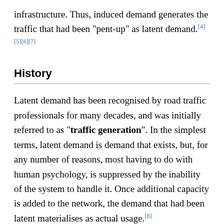infrastructure. Thus, induced demand generates the traffic that had been "pent-up" as latent demand.[4][5][6][7]
History
Latent demand has been recognised by road traffic professionals for many decades, and was initially referred to as "traffic generation". In the simplest terms, latent demand is demand that exists, but, for any number of reasons, most having to do with human psychology, is suppressed by the inability of the system to handle it. Once additional capacity is added to the network, the demand that had been latent materialises as actual usage.[8]
The effect was recognised as early as 1930, when an executive of a St. Louis, Missouri electric railway company told the Transportation Survey Commission that widening streets simply produces more traffic, and heavier congestion.[9] In New York, it was clearly seen in the highway-building program of Robert Moses, the "master builder" of the New York City